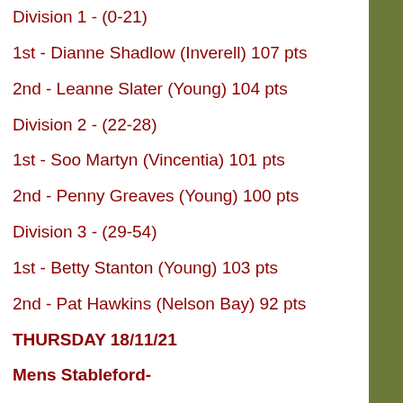Division 1 - (0-21)
1st - Dianne Shadlow (Inverell) 107 pts
2nd - Leanne Slater (Young) 104 pts
Division 2 - (22-28)
1st - Soo Martyn (Vincentia) 101 pts
2nd - Penny Greaves (Young) 100 pts
Division 3 - (29-54)
1st - Betty Stanton (Young) 103 pts
2nd - Pat Hawkins (Nelson Bay) 92 pts
THURSDAY 18/11/21
Mens Stableford-